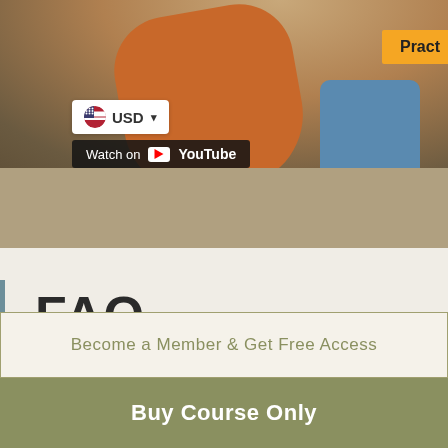[Figure (screenshot): Top section showing a person in an orange jacket doing a stretching pose outdoors, with USD currency selector badge and YouTube watch button overlay, and a partially visible orange promotional banner on the right]
FAQ
Become a Member & Get Free Access
Buy Course Only